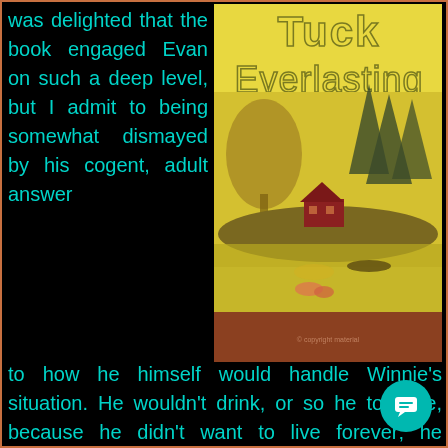was delighted that the book engaged Evan on such a deep level, but I admit to being somewhat dismayed by his cogent, adult answer to how he himself would handle Winnie's situation. He wouldn't drink, or so he told me, because he didn't want to live forever; he worried that eventually he would get bored.
[Figure (illustration): Book cover of 'Tuck Everlasting' showing a yellow-toned painting of a lakeside scene with trees, a red cabin, and a boat on the water. The title 'Tuck Everlasting' is displayed at the top in large outlined letters.]